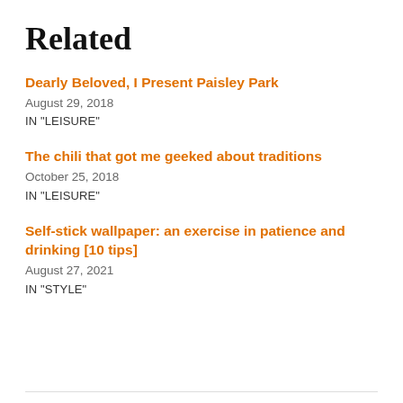Related
Dearly Beloved, I Present Paisley Park
August 29, 2018
IN "LEISURE"
The chili that got me geeked about traditions
October 25, 2018
IN "LEISURE"
Self-stick wallpaper: an exercise in patience and drinking [10 tips]
August 27, 2021
IN "STYLE"